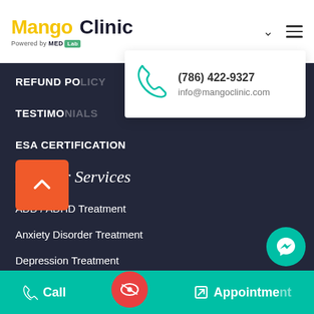[Figure (logo): Mango Clinic logo with 'Powered by MED Lab' tagline]
(786) 422-9327
info@mangoclinic.com
REFUND POLICY
TESTIMONIALS
ESA CERTIFICATION
Popular Services
ADD / ADHD Treatment
Anxiety Disorder Treatment
Depression Treatment
Insomnia Treatment
Chronic Fatigue Syndrome
Call
Appointment